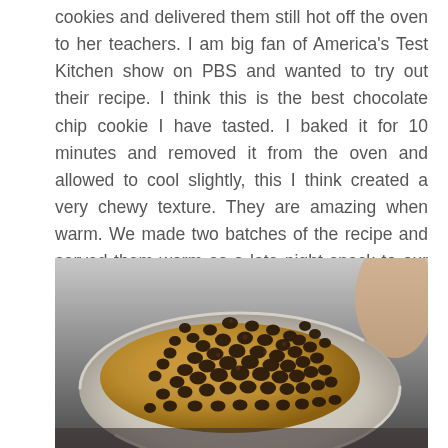cookies and delivered them still hot off the oven to her teachers. I am big fan of America's Test Kitchen show on PBS and wanted to try out their recipe. I think this is the best chocolate chip cookie I have tasted. I baked it for 10 minutes and removed it from the oven and allowed to cool slightly, this I think created a very chewy texture. They are amazing when warm. We made two batches of the recipe and served them warm as a late night snack to our family and friends.
[Figure (photo): A bowl containing cookie dough with a large mound of chocolate chips piled on top, viewed from above.]